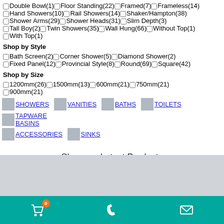Double Bowl(1), Floor Standing(22), Framed(7), Frameless(14), Hand Showers(10), Rail Showers(14), Shaker/Hampton(38), Shower Arms(29), Shower Heads(31), Slim Depth(3), Tall Boy(2), Twin Showers(35), Wall Hung(66), Without Top(1), With Top(1)
Shop by Style
Bath Screen(2), Corner Shower(5), Diamond Shower(2), Fixed Panel(12), Provincial Style(8), Round(69), Square(42)
Shop by Size
1200mm(26), 1500mm(13), 600mm(21), 750mm(21), 900mm(21)
SHOWERS, VANITIES, BATHS, TOILETS, TAPWARE, BASINS, ACCESSORIES, SINKS
Shop our Latest Products
[Figure (other): Gray band area for product images]
Cart (0), Phone, Email